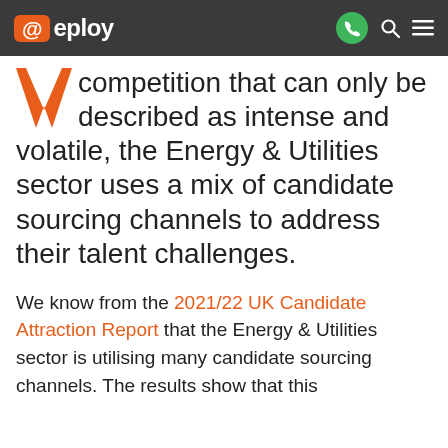@eploy
competition that can only be described as intense and volatile, the Energy & Utilities sector uses a mix of candidate sourcing channels to address their talent challenges.
We know from the 2021/22 UK Candidate Attraction Report that the Energy & Utilities sector is utilising many candidate sourcing channels. The results show that this